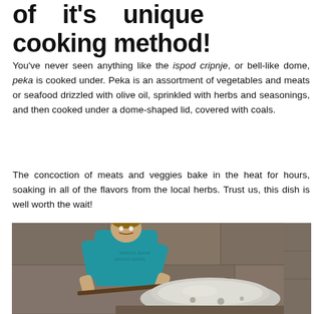of it's unique cooking method!
You've never seen anything like the ispod cripnje, or bell-like dome, peka is cooked under. Peka is an assortment of vegetables and meats or seafood drizzled with olive oil, sprinkled with herbs and seasonings, and then cooked under a dome-shaped lid, covered with coals.
The concoction of meats and veggies bake in the heat for hours, soaking in all of the flavors from the local herbs. Trust us, this dish is well worth the wait!
[Figure (photo): A young man in a teal/blue t-shirt using a long-handled tool to tend a peka (bell-shaped dome lid covered with coals) in what appears to be a stone outdoor cooking area.]